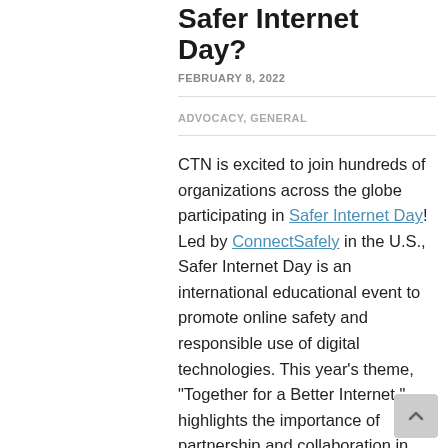Safer Internet Day?
FEBRUARY 8, 2022
ADVOCACY, GENERAL
CTN is excited to join hundreds of organizations across the globe participating in Safer Internet Day! Led by ConnectSafely in the U.S., Safer Internet Day is an international educational event to promote online safety and responsible use of digital technologies. This year’s theme, “Together for a Better Internet,” highlights the importance of partnership and collaboration in cultivating a healthy digital